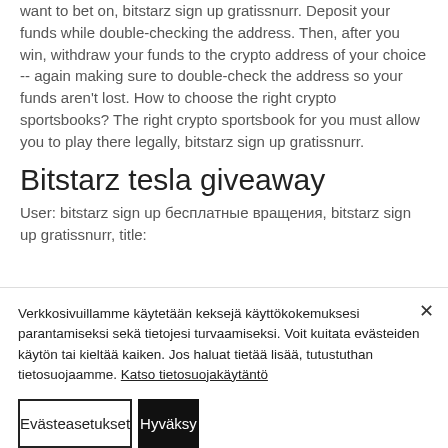Deposit your funds while double-checking the address. Then, after you win, withdraw your funds to the crypto address of your choice -- again making sure to double-check the address so your funds aren't lost. How to choose the right crypto sportsbooks? The right crypto sportsbook for you must allow you to play there legally, bitstarz sign up gratissnurr.
Bitstarz tesla giveaway
User: bitstarz sign up бесплатные вращения, bitstarz sign up gratissnurr, title:
Verkkosivuillamme käytetään keksejä käyttökokemuksesi parantamiseksi sekä tietojesi turvaamiseksi. Voit kuitata evästeiden käytön tai kieltää kaiken. Jos haluat tietää lisää, tutustuthan tietosuojaamme. Katso tietosuojakäytäntö
Evästeasetukset
Hyväksy